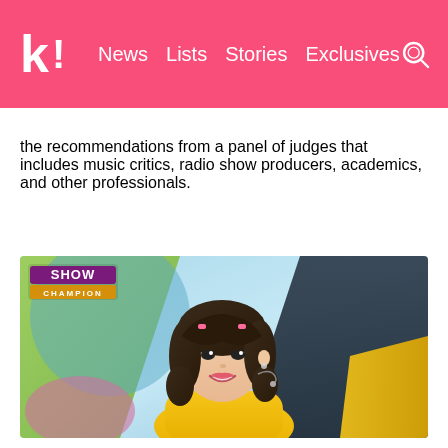k! News Lists Stories Exclusives
the recommendations from a panel of judges that includes music critics, radio show producers, academics, and other professionals.
[Figure (photo): A young female K-pop performer on stage at Show Champion, wearing a yellow top with short wavy dark hair and hair clips, smiling at the camera with a microphone headset. Colorful stage lighting and backdrop visible.]